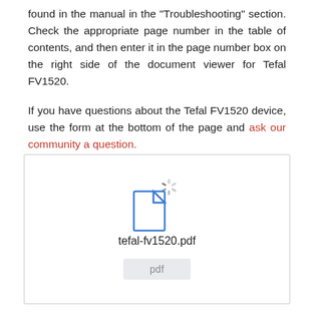found in the manual in the "Troubleshooting" section. Check the appropriate page number in the table of contents, and then enter it in the page number box on the right side of the document viewer for Tefal FV1520.

If you have questions about the Tefal FV1520 device, use the form at the bottom of the page and ask our community a question.
[Figure (screenshot): A document viewer widget showing a loading spinner icon overlaid on a document file icon, with the filename 'tefal-fv1520.pdf' below and a grey 'pdf' button underneath.]